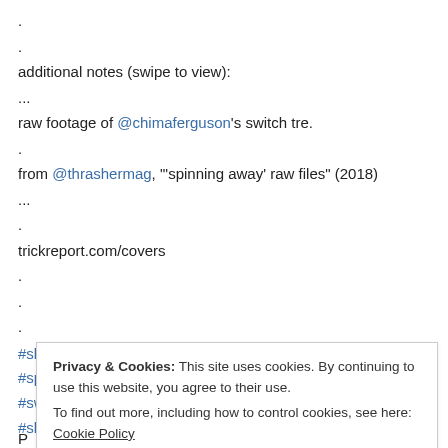.
.
additional notes (swipe to view):
...
raw footage of @chimaferguson's switch tre.
.
from @thrashermag, "'spinning away' raw files" (2018)
...
.
trickreport.com/covers
.
.
.
#slam #chimaferguson #andrewmapstone #vans #spinningaway #switch360flip #kew10 #melbourne #skateboarding #skatehistory #trickreport #photovsfootage
view all 8 comments
Privacy & Cookies: This site uses cookies. By continuing to use this website, you agree to their use. To find out more, including how to control cookies, see here: Cookie Policy
Close and accept